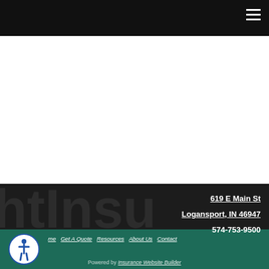Navigation bar with hamburger menu
[Figure (logo): Celina Insurance Group logo — italic serif 'celina' in slate blue with green leaf accent, 'INSURANCE GROUP' in spaced caps below]
[Figure (logo): The Hartford logo — stag deer with credit card graphic, text 'THE HARTFORD']
619 E Main St
Logansport, IN 46947
574-753-9500
Home  Get A Quote  Resources  About Us  Contact
Powered by Insurance Website Builder